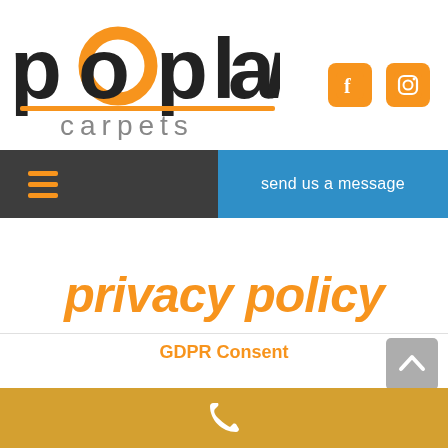[Figure (logo): Poplar Carpets logo - stylized text with orange circle accents and underline, with 'carpets' below in grey]
[Figure (other): Facebook and Instagram social media icon buttons in orange]
[Figure (other): Dark grey navigation bar with orange hamburger menu icon on left and blue 'send us a message' button on right]
privacy policy
GDPR Consent
[Figure (other): Golden/amber footer bar with white phone icon]